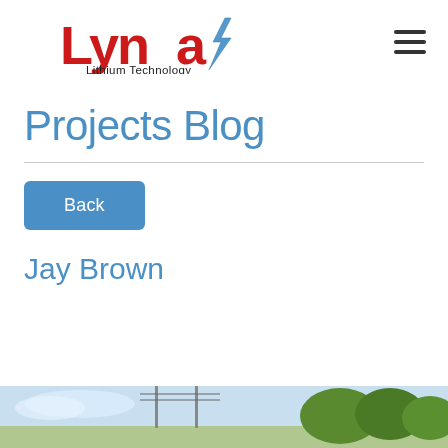[Figure (logo): Lynac Lithium Technology logo with red stylized text and blue lightning bolt, subtitle reads 'Lithium Technology']
Projects Blog
Back
Jay Brown
[Figure (photo): Partial photo of outdoor scene with sky and trees visible at bottom of page]